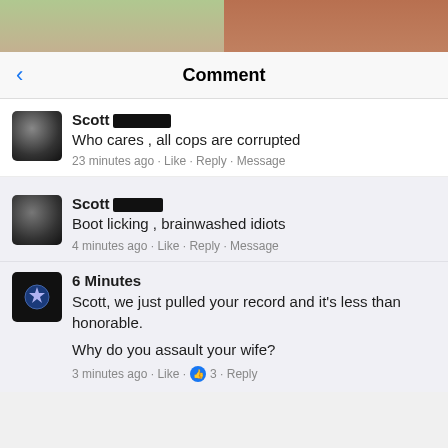[Figure (photo): Two cropped photos at top of page — left shows greenery/person, right shows person in warm tones]
Comment
Scott [redacted]
Who cares , all cops are corrupted
23 minutes ago · Like · Reply · Message
Scott [redacted]
Boot licking , brainwashed idiots
4 minutes ago · Like · Reply · Message
6 Minutes
Scott, we just pulled your record and it's less than honorable.

Why do you assault your wife?
3 minutes ago · Like · 3 · Reply